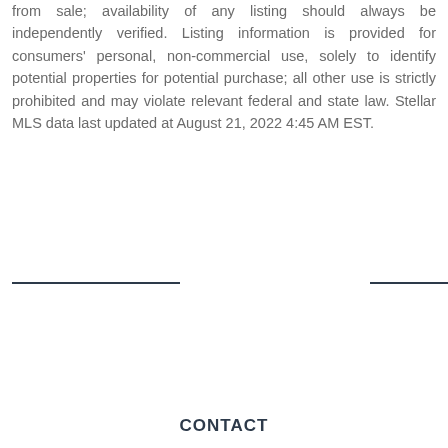from sale; availability of any listing should always be independently verified. Listing information is provided for consumers' personal, non-commercial use, solely to identify potential properties for potential purchase; all other use is strictly prohibited and may violate relevant federal and state law. Stellar MLS data last updated at August 21, 2022 4:45 AM EST.
CONTACT